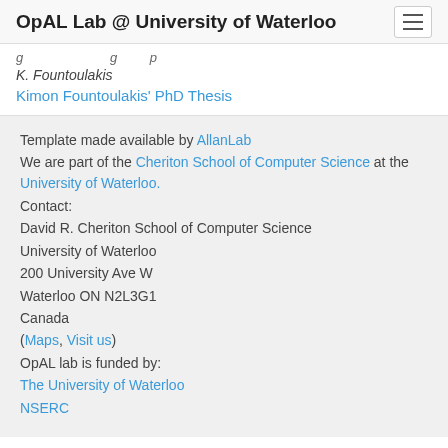OpAL Lab @ University of Waterloo
K. Fountoulakis
Kimon Fountoulakis' PhD Thesis
Template made available by AllanLab
We are part of the Cheriton School of Computer Science at the University of Waterloo.
Contact:
David R. Cheriton School of Computer Science
University of Waterloo
200 University Ave W
Waterloo ON N2L3G1
Canada
(Maps, Visit us)
OpAL lab is funded by:
The University of Waterloo
NSERC